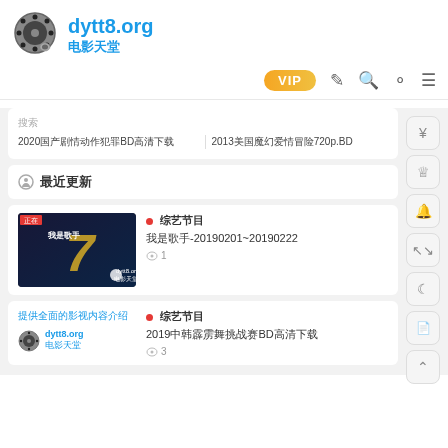[Figure (logo): Film reel logo with dytt8.org and 电影天堂 text]
dytt8.org 电影天堂
VIP 编辑 搜索 用户 菜单 navigation icons
搜索 label row
2020国产剧情动作犯罪BD高清下载 | 2013美国魔幻爱情冒险720p.BD
最近更新
[Figure (screenshot): Thumbnail of TV show 我是歌手 season 7]
综艺节目 我是歌手-20190201~20190222 浏览 1
提供全面的影视内容介绍 dytt8.org 电影天堂
综艺节目 2019中韩霹雳舞挑战赛BD高清下载 浏览 3